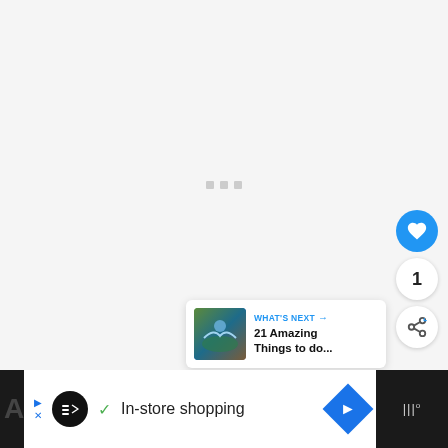[Figure (screenshot): Loading spinner / content placeholder area with three small grey squares centered on a light grey background]
[Figure (infographic): Blue circular like/heart button with white heart icon]
1
[Figure (infographic): White circular share button with share icon]
[Figure (screenshot): What's Next card showing thumbnail of river/nature scene and text '21 Amazing Things to do...']
WHAT'S NEXT → 21 Amazing Things to do...
[Figure (screenshot): Advertisement bar at bottom: black background with Loops logo, checkmark, 'In-store shopping' text, blue diamond arrow icon, and music/audio app icon on right]